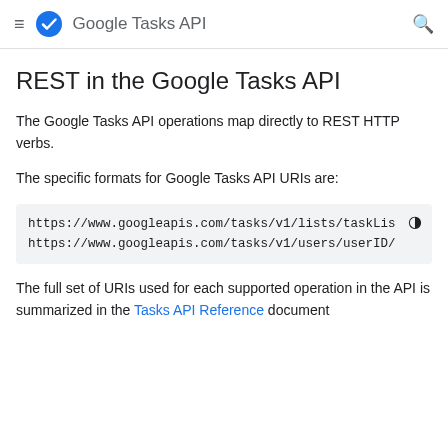Google Tasks API
REST in the Google Tasks API
The Google Tasks API operations map directly to REST HTTP verbs.
The specific formats for Google Tasks API URIs are:
https://www.googleapis.com/tasks/v1/lists/taskLis
https://www.googleapis.com/tasks/v1/users/userID/
The full set of URIs used for each supported operation in the API is summarized in the Tasks API Reference document